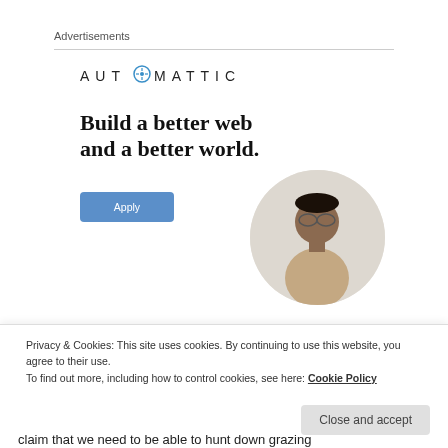Advertisements
[Figure (logo): Automattic logo with compass icon in the letter O]
Build a better web and a better world.
[Figure (photo): Circular photo of a man looking upward thoughtfully, wearing glasses and a beige t-shirt, on a light gray background]
Privacy & Cookies: This site uses cookies. By continuing to use this website, you agree to their use. To find out more, including how to control cookies, see here: Cookie Policy
Close and accept
claim that we need to be able to hunt down grazing